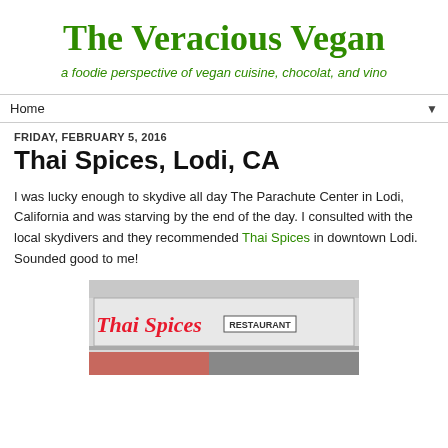The Veracious Vegan
a foodie perspective of vegan cuisine, chocolat, and vino
Home ▼
FRIDAY, FEBRUARY 5, 2016
Thai Spices, Lodi, CA
I was lucky enough to skydive all day The Parachute Center in Lodi, California and was starving by the end of the day. I consulted with the local skydivers and they recommended Thai Spices in downtown Lodi. Sounded good to me!
[Figure (photo): Photo of Thai Spices Restaurant exterior sign reading 'Thai Spices RESTAURANT' in red cursive lettering on a light-colored building facade]